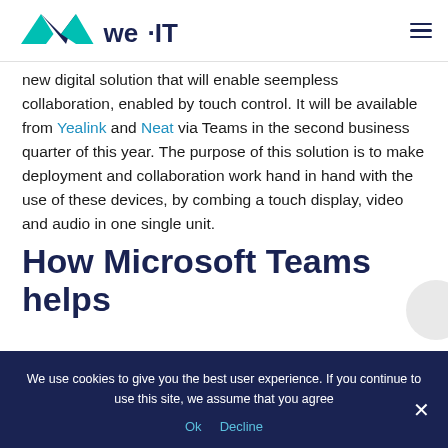[Figure (logo): we·IT company logo with teal and blue stylized W mark and 'we·IT' text in dark navy]
new digital solution that will enable seempless collaboration, enabled by touch control. It will be available from Yealink and Neat via Teams in the second business quarter of this year. The purpose of this solution is to make deployment and collaboration work hand in hand with the use of these devices, by combing a touch display, video and audio in one single unit.
How Microsoft Teams helps
We use cookies to give you the best user experience. If you continue to use this site, we assume that you agree
Ok   Decline